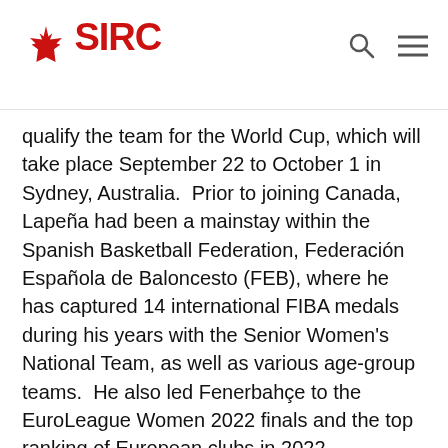SIRC
qualify the team for the World Cup, which will take place September 22 to October 1 in Sydney, Australia.  Prior to joining Canada, Lapeña had been a mainstay within the Spanish Basketball Federation, Federación Española de Baloncesto (FEB), where he has captured 14 international FIBA medals during his years with the Senior Women's National Team, as well as various age-group teams.  He also led Fenerbahçe to the EuroLeague Women 2022 finals and the top ranking of European clubs in 2022.
Baur was recently named Head Coach for Canada for the upcoming FIBA U18 Women's Americas Championship 2022 and will join the U23 team following the conclusion of that tournament, held in 2014 b...